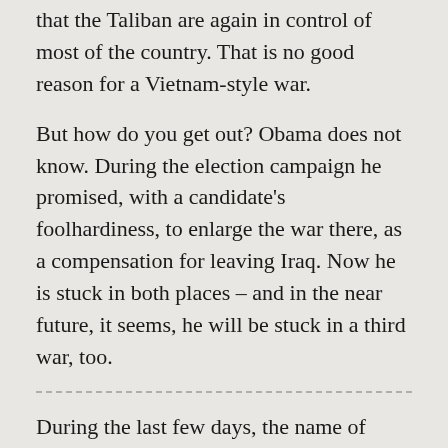that the Taliban are again in control of most of the country. That is no good reason for a Vietnam-style war.
But how do you get out? Obama does not know. During the election campaign he promised, with a candidate's foolhardiness, to enlarge the war there, as a compensation for leaving Iraq. Now he is stuck in both places – and in the near future, it seems, he will be stuck in a third war, too.
During the last few days, the name of Yemen has been cropping up more and more often. Yemen: a second Afghanistan, a third Vietnam.
The elephant is raring to enter another shop. And this time, too, it doesn't care about the porcelain.